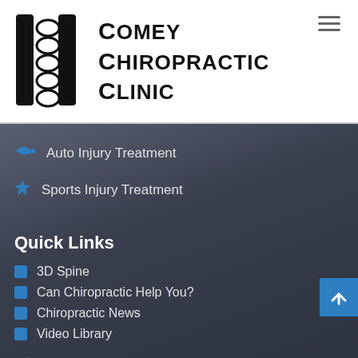[Figure (logo): Comey Chiropractic Clinic logo with black geometric C-shaped symbol and text]
Auto Injury Treatment
Sports Injury Treatment
Quick Links
3D Spine
Can Chiropractic Help You?
Chiropractic News
Video Library
Location Address